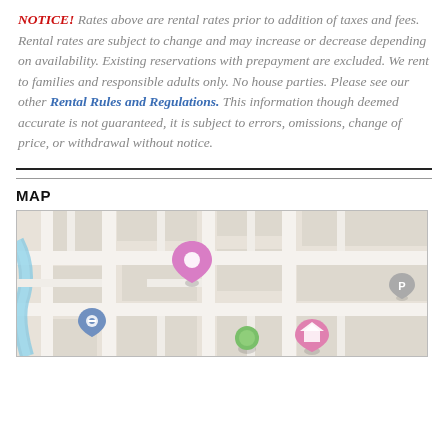NOTICE! Rates above are rental rates prior to addition of taxes and fees. Rental rates are subject to change and may increase or decrease depending on availability. Existing reservations with prepayment are excluded. We rent to families and responsible adults only. No house parties. Please see our other Rental Rules and Regulations. This information though deemed accurate is not guaranteed, it is subject to errors, omissions, change of price, or withdrawal without notice.
MAP
[Figure (map): Street map showing location with a pink map pin marker, a blue teardrop pin marker, a green circle marker, a pink home icon marker, and a grey parking marker. Road network visible with a blue river/road diagonal element on the left side.]